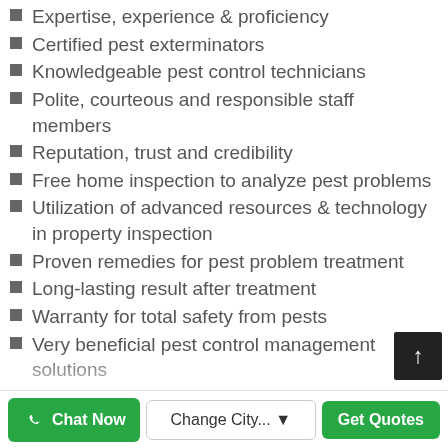Expertise, experience & proficiency
Certified pest exterminators
Knowledgeable pest control technicians
Polite, courteous and responsible staff members
Reputation, trust and credibility
Free home inspection to analyze pest problems
Utilization of advanced resources & technology in property inspection
Proven remedies for pest problem treatment
Long-lasting result after treatment
Warranty for total safety from pests
Very beneficial pest control management solutions
High-quality services, reasonable costs
Top quality pesticides / chemicals
Environment-friendly, government certified products
Odourless, less-toxic & safe-for-kids products
100 % natural & organic products
Tips for getting a free pest help during treatments